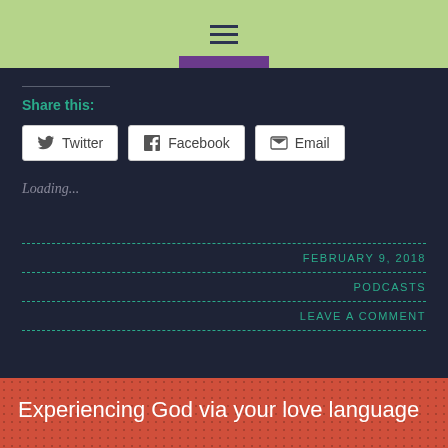≡
Share this:
Twitter  Facebook  Email
Loading...
FEBRUARY 9, 2018
PODCASTS
LEAVE A COMMENT
Experiencing God via your love language